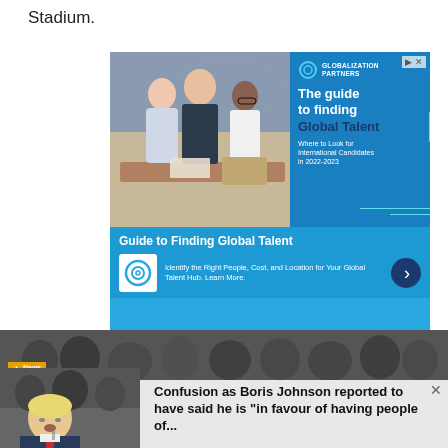Stadium.
[Figure (infographic): Advertisement banner for Globalization Partners 'Guide to Finding Global Talent'. Shows office photo on left with people around a table, blue panel on right with logo, headline 'The guide to finding Global Talent', subtext 'Where to Look for International Candidates in 2022-2023'. Bottom section on blue background: 'Guide to Finding Global Talent', logo icon, text 'Identify the Right People, Cost, and Location for Your Global Talent Hub. Learn More.', arrow button.]
[Figure (photo): News article thumbnail showing Boris Johnson at a public event with crowd in background, with news badge overlay. Headline: 'Confusion as Boris Johnson reported to have said he is "in favour of having people of...']